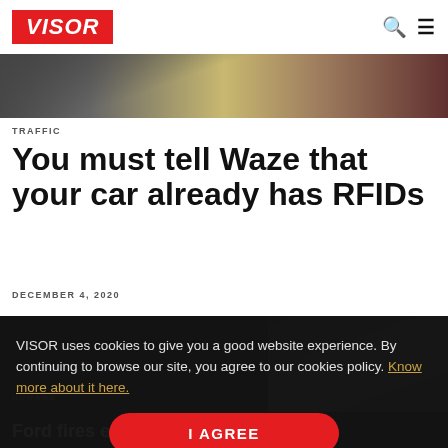VISOR
[Figure (photo): Car interior dashboard and console photo strip]
TRAFFIC
You must tell Waze that your car already has RFIDs
DECEMBER 4, 2020
VISOR uses cookies to give you a good website experience. By continuing to browse our site, you agree to our cookies policy. Know more about it here.
HUMANS
Ford fires executive